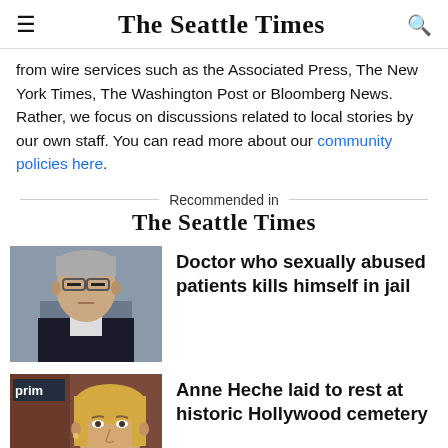The Seattle Times
from wire services such as the Associated Press, The New York Times, The Washington Post or Bloomberg News. Rather, we focus on discussions related to local stories by our own staff. You can read more about our community policies here.
Recommended in The Seattle Times
[Figure (photo): Headshot of a middle-aged man with glasses and grey hair wearing a dark suit]
Doctor who sexually abused patients kills himself in jail
[Figure (photo): Blonde woman smiling at an event with 'prim' (Prime) branding in the background]
Anne Heche laid to rest at historic Hollywood cemetery